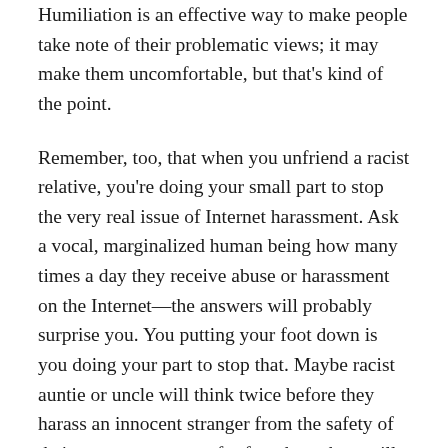Humiliation is an effective way to make people take note of their problematic views; it may make them uncomfortable, but that's kind of the point.
Remember, too, that when you unfriend a racist relative, you're doing your small part to stop the very real issue of Internet harassment. Ask a vocal, marginalized human being how many times a day they receive abuse or harassment on the Internet—the answers will probably surprise you. You putting your foot down is you doing your part to stop that. Maybe racist auntie or uncle will think twice before they harass an innocent stranger from the safety of their computer screen, for fear that others will also swim away from them like a turd in the pool. Maybe not. But it's well worth a try, isn't it?